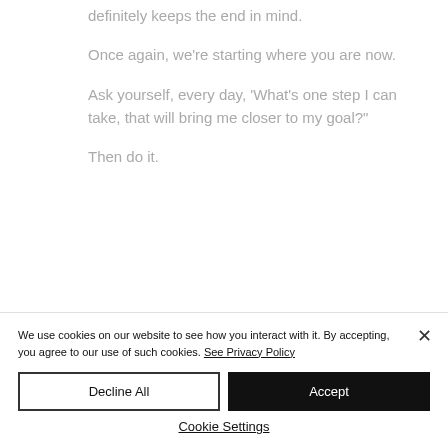definitely keeps the end in mind.
Once again, we're starting where you are now.
Ask yourself, every day, 'What's one step I can take, that will bring me closer to my goal?"
Then do it.
We use cookies on our website to see how you interact with it. By accepting, you agree to our use of such cookies. See Privacy Policy
Decline All
Accept
Cookie Settings